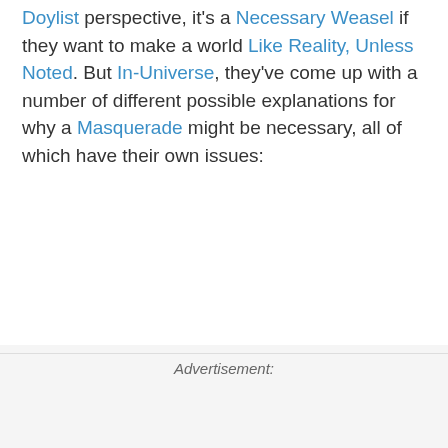Doylist perspective, it's a Necessary Weasel if they want to make a world Like Reality, Unless Noted. But In-Universe, they've come up with a number of different possible explanations for why a Masquerade might be necessary, all of which have their own issues:
Advertisement: